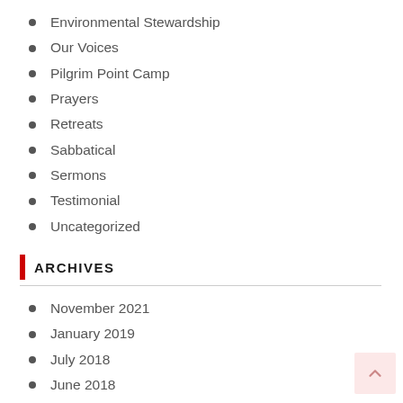Environmental Stewardship
Our Voices
Pilgrim Point Camp
Prayers
Retreats
Sabbatical
Sermons
Testimonial
Uncategorized
ARCHIVES
November 2021
January 2019
July 2018
June 2018
May 2018